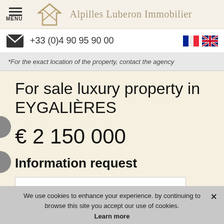Alpilles Luberon Immobilier
+33 (0)4 90 95 90 00
*For the exact location of the property, contact the agency
For sale luxury property in EYGALIÈRES
€ 2 150 000
Information request
We use cookies to enhance your experience. by continuing to browse this site you accept our use of cookies. Learn more